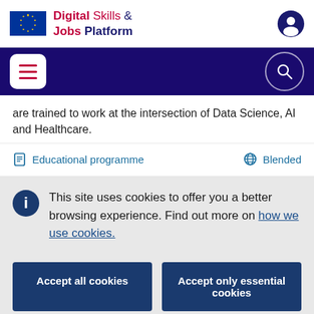Digital Skills & Jobs Platform
are trained to work at the intersection of Data Science, AI and Healthcare.
Educational programme   Blended
This site uses cookies to offer you a better browsing experience. Find out more on how we use cookies.
Accept all cookies
Accept only essential cookies